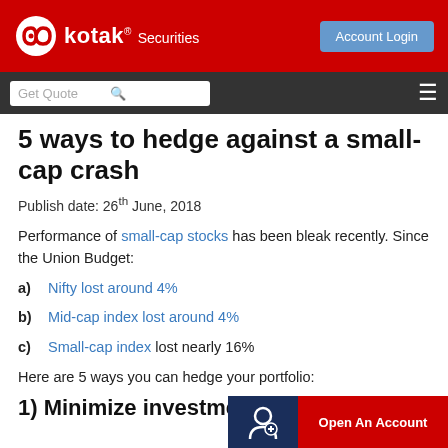Kotak Securities — Account Login
5 ways to hedge against a small-cap crash
Publish date: 26th June, 2018
Performance of small-cap stocks has been bleak recently. Since the Union Budget:
a) Nifty lost around 4%
b) Mid-cap index lost around 4%
c) Small-cap index lost nearly 16%
Here are 5 ways you can hedge your portfolio:
1) Minimize investment